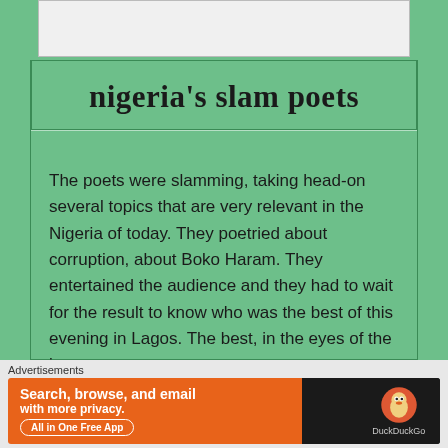[Figure (other): Top image placeholder/thumbnail, light gray box]
nigeria's slam poets
The poets were slamming, taking head-on several topics that are very relevant in the Nigeria of today. They poetried about corruption, about Boko Haram. They entertained the audience and they had to wait for the result to know who was the best of this evening in Lagos. The best, in the eyes of the jury.
15 September 2015  Africa, books, Literature, Nigeria, poetry  Africa, books, literature, Nigeria, poetry
Advertisements
[Figure (screenshot): DuckDuckGo advertisement banner: Search, browse, and email with more privacy. All in One Free App. DuckDuckGo logo on dark background.]